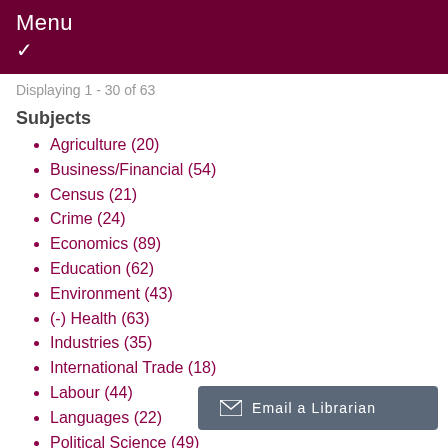Menu
Displaying 1 - 30 of 63
Subjects
Agriculture (20)
Business/Financial (54)
Census (21)
Crime (24)
Economics (89)
Education (62)
Environment (43)
(-) Health (63)
Industries (35)
International Trade (18)
Labour (44)
Languages (22)
Political Science (49)
Population and Demo...
Public Opinion (13)
Email a Librarian